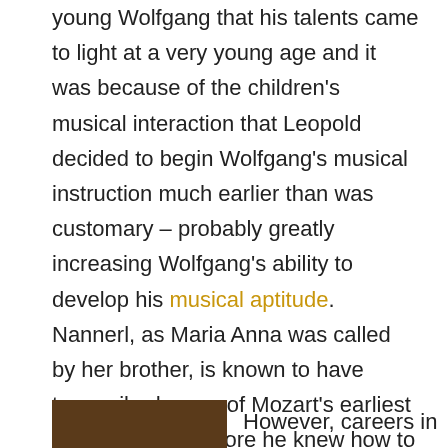young Wolfgang that his talents came to light at a very young age and it was because of the children's musical interaction that Leopold decided to begin Wolfgang's musical instruction much earlier than was customary – probably greatly increasing Wolfgang's ability to develop his musical aptitude. Nannerl, as Maria Anna was called by her brother, is known to have transcribed some of Mozart's earliest compositions (before he knew how to write music himself) and it is highly likely that she collaborated with him on some pieces. She composed works of her own, as well.
[Figure (photo): Partial photo of a person, cropped at bottom of page]
However, careers in